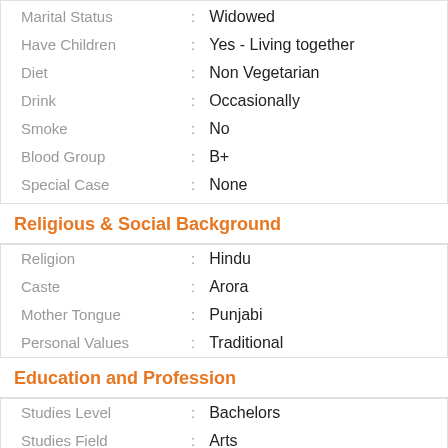Marital Status : Widowed
Have Children : Yes - Living together
Diet : Non Vegetarian
Drink : Occasionally
Smoke : No
Blood Group : B+
Special Case : None
Religious & Social Background
Religion : Hindu
Caste : Arora
Mother Tongue : Punjabi
Personal Values : Traditional
Education and Profession
Studies Level : Bachelors
Studies Field : Arts
Occupation : Business Person